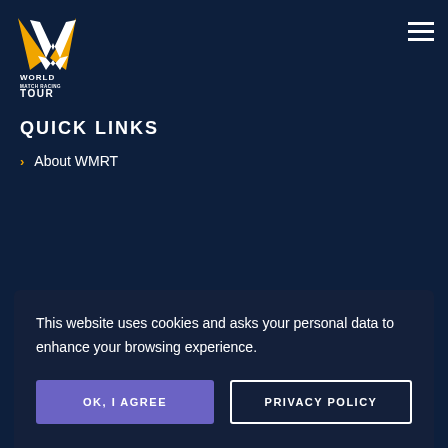[Figure (logo): World Match Racing Tour logo — stylized W/checkmark shape in white and gold/orange, with text 'WORLD MATCH RACING TOUR' below]
QUICK LINKS
About WMRT
This website uses cookies and asks your personal data to enhance your browsing experience.
OK, I AGREE
PRIVACY POLICY